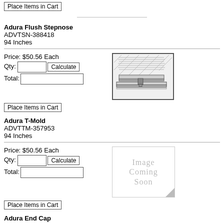Place Items in Cart
Adura Flush Stepnose
ADVTSN-388418
94 Inches
Price: $50.56 Each
Qty:
Total:
[Figure (illustration): Product illustration of Adura Flush Stepnose trim piece showing cross-section with wood flooring]
Place Items in Cart
Adura T-Mold
ADVTTM-357953
94 Inches
Price: $50.56 Each
Qty:
Total:
[Figure (illustration): Image Coming Soon placeholder for Adura T-Mold]
Place Items in Cart
Adura End Cap